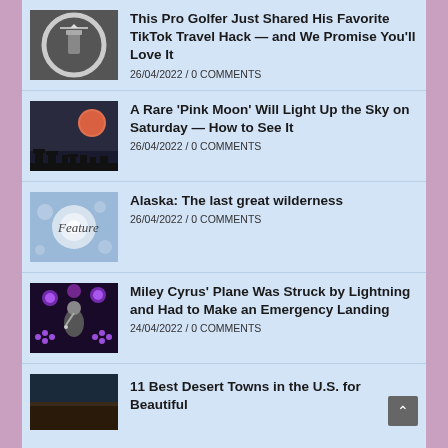[Figure (photo): Phone photograph of airplane through circular ring light]
This Pro Golfer Just Shared His Favorite TikTok Travel Hack — and We Promise You'll Love It
26/04/2022 / 0 COMMENTS
[Figure (photo): Pink full moon rising over Stonehenge silhouette]
A Rare 'Pink Moon' Will Light Up the Sky on Saturday — How to See It
26/04/2022 / 0 COMMENTS
[Figure (photo): Feature placeholder image with bokeh light background]
Alaska: The last great wilderness
26/04/2022 / 0 COMMENTS
[Figure (photo): Miley Cyrus performing on stage with purple stage lights]
Miley Cyrus' Plane Was Struck by Lightning and Had to Make an Emergency Landing
24/04/2022 / 0 COMMENTS
[Figure (photo): Desert landscape photo partial]
11 Best Desert Towns in the U.S. for Beautiful